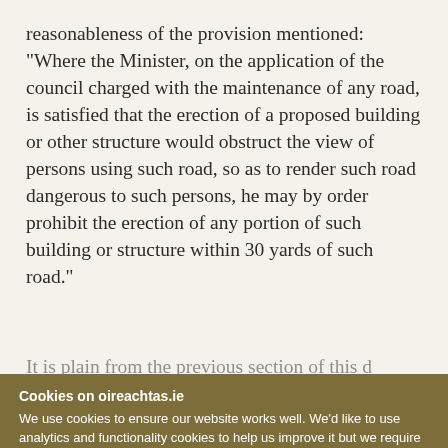reasonableness of the provision mentioned: "Where the Minister, on the application of the council charged with the maintenance of any road, is satisfied that the erection of a proposed building or other structure would obstruct the view of persons using such road, so as to render such road dangerous to such persons, he may by order prohibit the erection of any portion of such building or structure within 30 yards of such road."
It is plain from the previous section of this d...
Cookies on oireachtas.ie
We use cookies to ensure our website works well. We'd like to use analytics and functionality cookies to help us improve it but we require your consent to do so. If you don't consent, only necessary cookies will be used. Read more about our cookies
Manage cookies
Accept all cookies